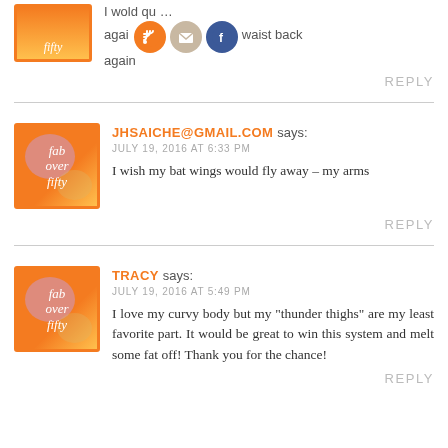[Figure (screenshot): Partial top comment with social icons (RSS, email, Facebook) and partial text ending in 'again']
REPLY
JHSAICHE@GMAIL.COM says:
JULY 19, 2016 AT 6:33 PM
I wish my bat wings would fly away – my arms
REPLY
TRACY says:
JULY 19, 2016 AT 5:49 PM
I love my curvy body but my "thunder thighs" are my least favorite part. It would be great to win this system and melt some fat off! Thank you for the chance!
REPLY